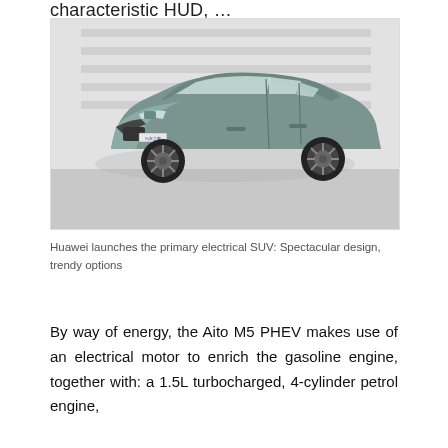characteristic HUD, …
[Figure (photo): A silver/green SUV (Aito M5 PHEV) photographed in a studio garage setting, three-quarter front view, showing stylized front grille, LED headlights, and large alloy wheels. A license plate reads '汽车之家'.]
Huawei launches the primary electrical SUV: Spectacular design, trendy options
By way of energy, the Aito M5 PHEV makes use of an electrical motor to enrich the gasoline engine, together with: a 1.5L turbocharged, 4-cylinder petrol engine,